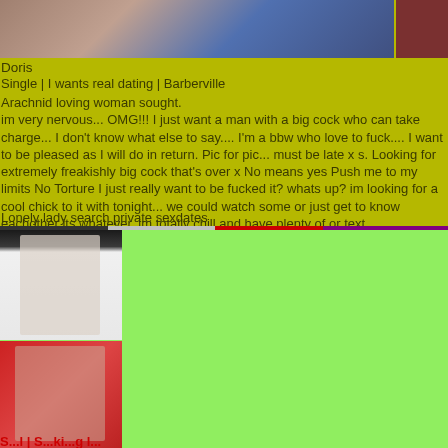[Figure (photo): Top cropped image strip showing partial body photos on olive/yellow-green background]
Doris
Single | I wants real dating | Barberville
Arachnid loving woman sought.
im very nervous... OMG!!! I just want a man with a big cock who can take charge... I don't know what else to say.... I'm a bbw who love to fuck.... I want to be pleased as I will do in return. Pic for pic... must be late x s. Looking for extremely freakishly big cock that's over x No means yes Push me to my limits No Torture I just really want to be fucked it? whats up? im looking for a cool chick to it with tonight... we could watch some or just get to know eachother its whatever. im totally chill and have plenty of or text
Lonely lady search private sexdates
[Figure (photo): Woman in white tank top sitting, dark hair, light background]
[Figure (photo): Woman on red couch in patterned dress]